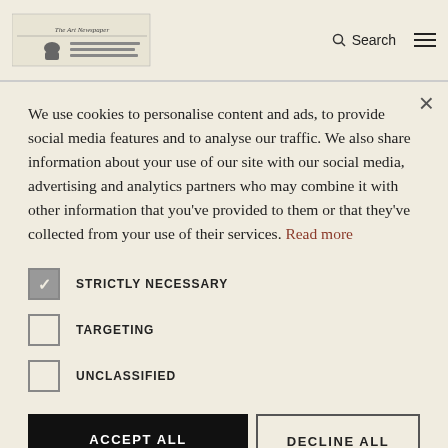Art fair to show emerging artists — Search [hamburger menu]
Fair will show works by Emirati artists Hind Mezaina, Afra Al Dhaheri and Afra Al Suwaidi in South Kensington this June
We use cookies to personalise content and ads, to provide social media features and to analyse our traffic. We also share information about your use of our site with our social media, advertising and analytics partners who may combine it with other information that you've provided to them or that they've collected from your use of their services. Read more
STRICTLY NECESSARY (checked)
TARGETING (unchecked)
UNCLASSIFIED (unchecked)
ACCEPT ALL | DECLINE ALL
⚙ SHOW DETAILS